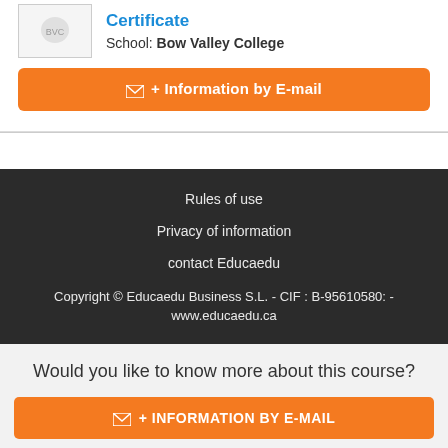Certificate
School: Bow Valley College
+ Information by E-mail
Rules of use
Privacy of information
contact Educaedu
Copyright © Educaedu Business S.L. - CIF : B-95610580: - www.educaedu.ca
Would you like to know more about this course?
+ INFORMATION BY E-MAIL